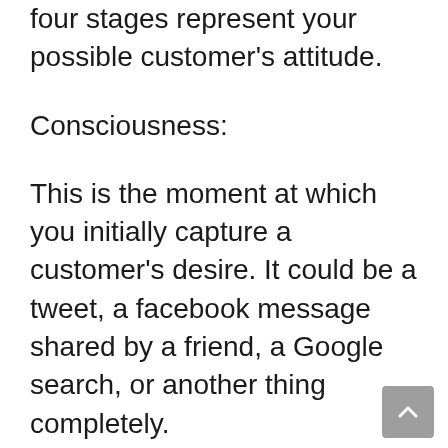four stages represent your possible customer's attitude.
Consciousness:
This is the moment at which you initially capture a customer's desire. It could be a tweet, a facebook message shared by a friend, a Google search, or another thing completely.
Your prospect becomes aware of your business as well as the products or services you supply.
When the moment is just right,